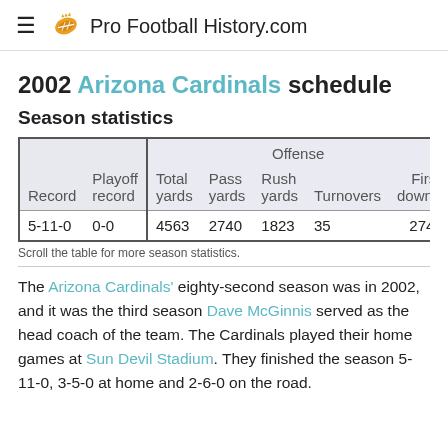Pro Football History.com
2002 Arizona Cardinals schedule
Season statistics
| Record | Playoff record | Total yards | Pass yards | Rush yards | Turnovers | First downs |
| --- | --- | --- | --- | --- | --- | --- |
| 5-11-0 | 0-0 | 4563 | 2740 | 1823 | 35 | 274 |
Scroll the table for more season statistics.
The Arizona Cardinals' eighty-second season was in 2002, and it was the third season Dave McGinnis served as the head coach of the team. The Cardinals played their home games at Sun Devil Stadium. They finished the season 5-11-0, 3-5-0 at home and 2-6-0 on the road.